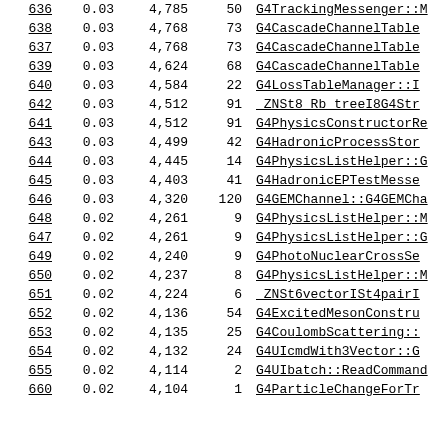| Rank | Pct | Bytes | Calls | Function |
| --- | --- | --- | --- | --- |
| 636 | 0.03 | 4,785 | 50 | G4TrackingMessenger::M... |
| 638 | 0.03 | 4,768 | 73 | G4CascadeChannelTable... |
| 637 | 0.03 | 4,768 | 73 | G4CascadeChannelTable... |
| 639 | 0.03 | 4,624 | 68 | G4CascadeChannelTable... |
| 640 | 0.03 | 4,584 | 22 | G4LossTableManager::I... |
| 642 | 0.03 | 4,512 | 91 | _ZNSt8 Rb treeI8G4Str... |
| 641 | 0.03 | 4,512 | 91 | G4PhysicsConstructorRe... |
| 643 | 0.03 | 4,499 | 42 | G4HadronicProcessSto... |
| 644 | 0.03 | 4,445 | 14 | G4PhysicsListHelper::... |
| 645 | 0.03 | 4,403 | 41 | G4HadronicEPTestMesse... |
| 646 | 0.03 | 4,320 | 120 | G4GEMChannel::G4GEMCha... |
| 648 | 0.02 | 4,261 | 9 | G4PhysicsListHelper::... |
| 647 | 0.02 | 4,261 | 9 | G4PhysicsListHelper::... |
| 649 | 0.02 | 4,240 | 9 | G4PhotoNuclearCrossSe... |
| 650 | 0.02 | 4,237 | 8 | G4PhysicsListHelper::... |
| 651 | 0.02 | 4,224 | 6 | _ZNSt6vectorISt4pairI... |
| 652 | 0.02 | 4,136 | 54 | G4ExcitedMesonConstru... |
| 653 | 0.02 | 4,135 | 25 | G4CoulombScattering::... |
| 654 | 0.02 | 4,132 | 24 | G4UIcmdWith3Vector::G... |
| 655 | 0.02 | 4,114 | 2 | G4UIbatch::ReadCommand... |
| 660 | 0.02 | 4,104 | 1 | G4ParticleChangeForTr... |